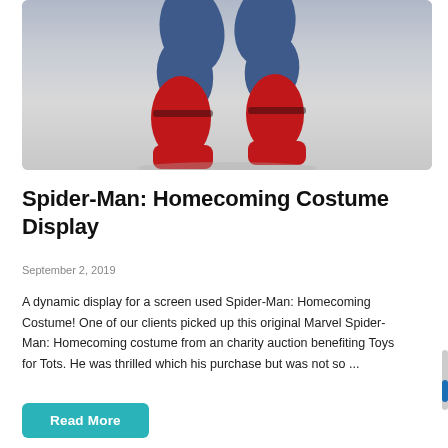[Figure (photo): Photo of Spider-Man Homecoming costume legs in red and blue, photographed from above against a grey/white surface background.]
Spider-Man: Homecoming Costume Display
September 2, 2019
A dynamic display for a screen used Spider-Man: Homecoming Costume! One of our clients picked up this original Marvel Spider-Man: Homecoming costume from an charity auction benefiting Toys for Tots. He was thrilled which his purchase but was not so ...
Read More